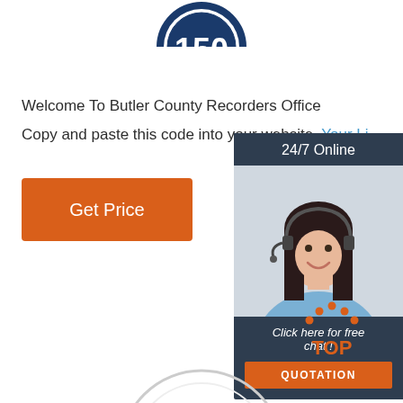[Figure (illustration): Partial circular badge/seal at top center showing '150' with blue and white colors, only bottom half visible]
Welcome To Butler County Recorders Office
Copy and paste this code into your website. Your Li...
[Figure (illustration): Orange 'Get Price' button]
[Figure (illustration): 24/7 Online chat widget on right side showing a woman with headset, dark background header '24/7 Online', italic text 'Click here for free chat !' and orange QUOTATION button]
[Figure (illustration): Orange dotted triangle 'TOP' badge/icon in lower right area]
[Figure (illustration): Partial circular element at very bottom center]